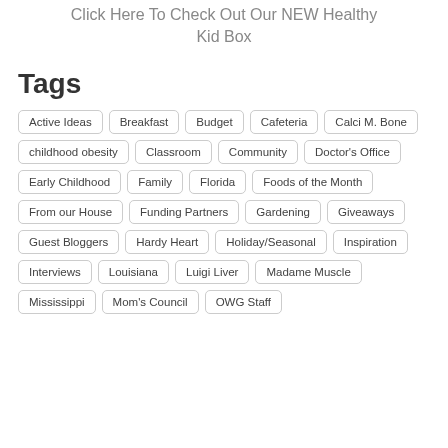Click Here To Check Out Our NEW Healthy Kid Box
Tags
Active Ideas
Breakfast
Budget
Cafeteria
Calci M. Bone
childhood obesity
Classroom
Community
Doctor's Office
Early Childhood
Family
Florida
Foods of the Month
From our House
Funding Partners
Gardening
Giveaways
Guest Bloggers
Hardy Heart
Holiday/Seasonal
Inspiration
Interviews
Louisiana
Luigi Liver
Madame Muscle
Mississippi
Mom's Council
OWG Staff